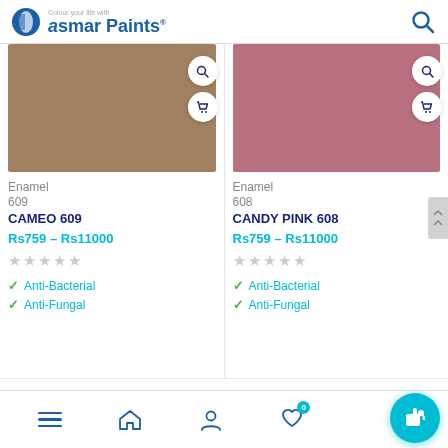Asmar Paints - Colour your life with
[Figure (screenshot): Product listing page showing two paint color swatches: Cameo 609 (tan/beige color) and Candy Pink 608 (dusty rose color), each with search and cart buttons, price Rs759-Rs11000, star ratings, and Anti-Bacterial and Anti-Fungal feature checkmarks]
Navigation bar with menu, home, user, wishlist (0) icons